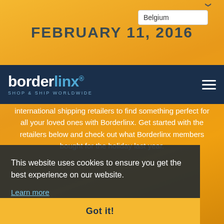[Figure (screenshot): Borderlinx website screenshot showing Belgium country selector dropdown, partial date header 'FEBRUARY 11, 2016', orange background with pills, Borderlinx logo nav bar, body text about shopping internationally, cookie consent overlay with 'Learn more' link, and 'Got it!' button]
Belgium
FEBRUARY 11, 2016
international shipping retailers to find something perfect for all your loved ones with Borderlinx. Get started with the retailers below and check out what Borderlinx members bought for the holiday last year.
This website uses cookies to ensure you get the best experience on our website.
Learn more
Got it!